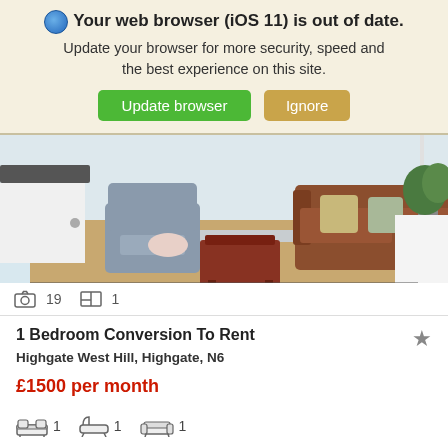Your web browser (iOS 11) is out of date. Update your browser for more security, speed and the best experience on this site. Update browser | Ignore
[Figure (photo): Interior photo of a living room with a grey armchair, brown leather sofa, wooden coffee table, and hardwood floors with a window in the background]
19 photos  1 floorplan
1 Bedroom Conversion To Rent
Highgate West Hill, Highgate, N6
£1500 per month
1 bedroom  1 bathroom  1 reception